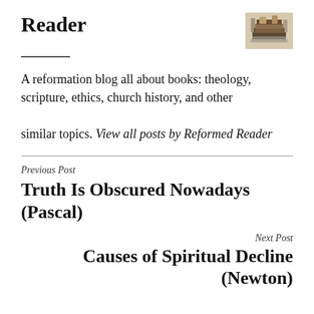Reader
[Figure (photo): Small thumbnail photo of stacked books on a table]
A reformation blog all about books: theology, scripture, ethics, church history, and other similar topics. View all posts by Reformed Reader
Previous Post
Truth Is Obscured Nowadays (Pascal)
Next Post
Causes of Spiritual Decline (Newton)